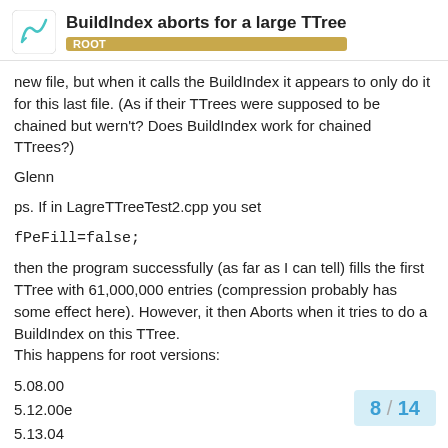BuildIndex aborts for a large TTree — ROOT
new file, but when it calls the BuildIndex it appears to only do it for this last file. (As if their TTrees were supposed to be chained but wern't? Does BuildIndex work for chained TTrees?)
Glenn
ps. If in LagreTTreeTest2.cpp you set
fPeFill=false;
then the program successfully (as far as I can tell) fills the first TTree with 61,000,000 entries (compression probably has some effect here). However, it then Aborts when it tries to do a BuildIndex on this TTree.
This happens for root versions:
5.08.00
5.12.00e
5.13.04
If, after running this program with fPeFill=f…
8 / 14